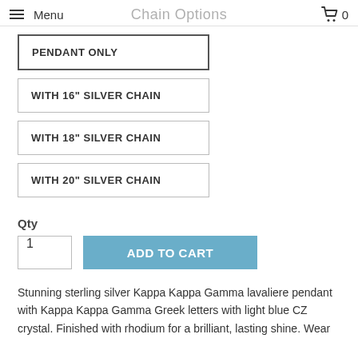Menu  Chain Options  0
PENDANT ONLY
WITH 16" SILVER CHAIN
WITH 18" SILVER CHAIN
WITH 20" SILVER CHAIN
Qty
1
ADD TO CART
Stunning sterling silver Kappa Kappa Gamma lavaliere pendant with Kappa Kappa Gamma Greek letters with light blue CZ crystal. Finished with rhodium for a brilliant, lasting shine. Wear